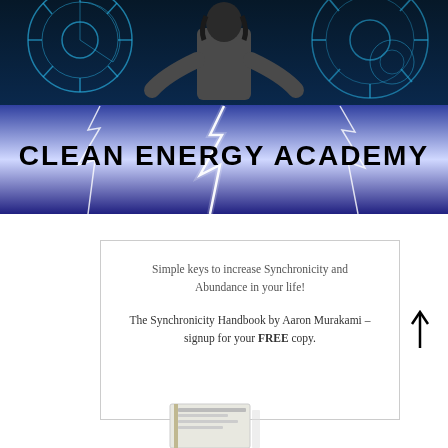[Figure (illustration): Banner image: top half shows a person (seen from behind, wearing a suit jacket) standing in front of glowing blue gear/cog technical diagrams on a dark navy background. Bottom half shows lightning bolts on a purple/blue stormy sky. Bold black text 'CLEAN ENERGY ACADEMY' overlaid on the lightning section.]
Simple keys to increase Synchronicity and Abundance in your life!
The Synchronicity Handbook by Aaron Murakami – signup for your FREE copy.